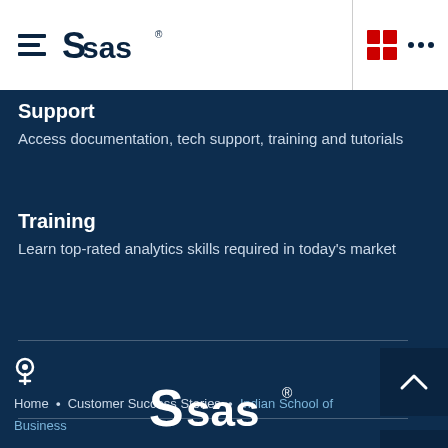SAS navigation header with hamburger menu, SAS logo, grid icon, and three-dot menu
Support
Access documentation, tech support, training and tutorials
Training
Learn top-rated analytics skills required in today's market
Home • Customer Success Stories • Indian School of Business
[Figure (logo): SAS logo in white at the bottom of the dark blue footer area]